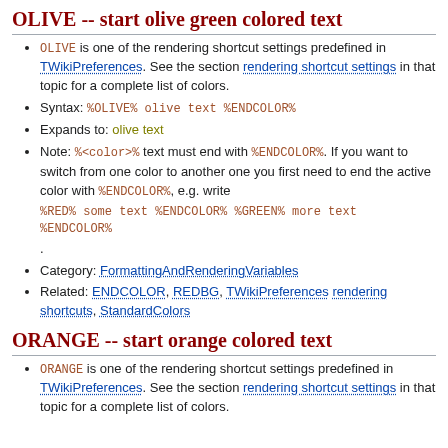OLIVE -- start olive green colored text
OLIVE is one of the rendering shortcut settings predefined in TWikiPreferences. See the section rendering shortcut settings in that topic for a complete list of colors.
Syntax: %OLIVE% olive text %ENDCOLOR%
Expands to: olive text
Note: %<color>% text must end with %ENDCOLOR%. If you want to switch from one color to another one you first need to end the active color with %ENDCOLOR%, e.g. write %RED% some text %ENDCOLOR% %GREEN% more text %ENDCOLOR%.
Category: FormattingAndRenderingVariables
Related: ENDCOLOR, REDBG, TWikiPreferences rendering shortcuts, StandardColors
ORANGE -- start orange colored text
ORANGE is one of the rendering shortcut settings predefined in TWikiPreferences. See the section rendering shortcut settings in that topic for a complete list of colors.